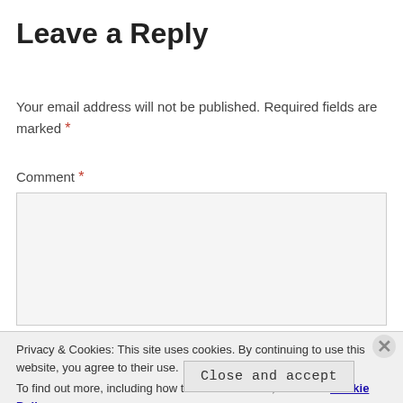Leave a Reply
Your email address will not be published. Required fields are marked *
Comment *
[Figure (screenshot): Empty comment text area input box with light gray background]
Privacy & Cookies: This site uses cookies. By continuing to use this website, you agree to their use.
To find out more, including how to control cookies, see here: Cookie Policy
Close and accept